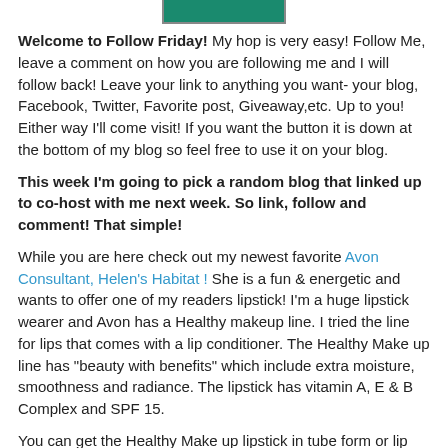[Figure (other): Green banner/button graphic at top of page]
Welcome to Follow Friday! My hop is very easy!  Follow Me, leave a comment on how you are following me and I will follow back!  Leave your link to anything you want- your blog, Facebook, Twitter, Favorite post, Giveaway,etc.  Up to you!  Either way I'll come visit!  If you want the button it is down at the bottom of my blog so feel free to use it on your blog.
This week I'm going to pick a random blog that linked up to co-host with me next week.  So link, follow and comment! That simple!
While you are here check out my newest favorite Avon Consultant, Helen's Habitat !  She is a fun & energetic and wants to offer one of my readers lipstick!  I'm a huge lipstick wearer and Avon has a Healthy makeup line.  I tried the line for lips that comes with a lip conditioner.  The Healthy Make up line has "beauty with benefits" which include extra moisture, smoothness and radiance. The lipstick has vitamin A, E & B Complex and SPF 15.
You can get the Healthy Make up lipstick in tube form or  lip